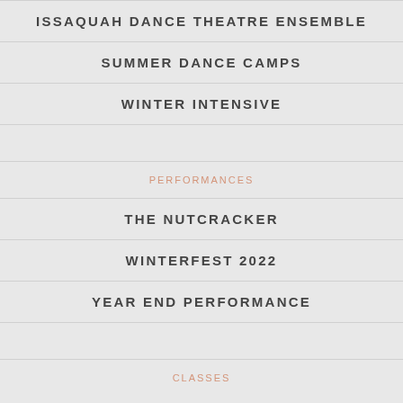ISSAQUAH DANCE THEATRE ENSEMBLE
SUMMER DANCE CAMPS
WINTER INTENSIVE
PERFORMANCES
THE NUTCRACKER
WINTERFEST 2022
YEAR END PERFORMANCE
CLASSES